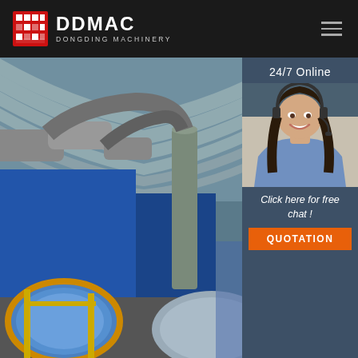DDMAC DONGDING MACHINERY
[Figure (photo): Industrial factory interior showing large rotary drum dryers/cylinders painted blue and grey, with ductwork and industrial equipment under a curved corrugated metal roof. Yellow support structures visible in foreground.]
24/7 Online
[Figure (photo): Customer service representative woman wearing a headset, smiling, in a blue shirt, photographed against a light background.]
Click here for free chat !
QUOTATION